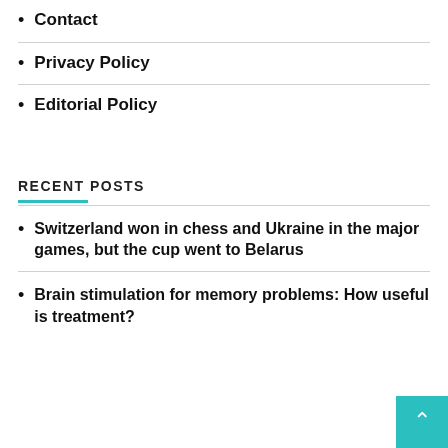Contact
Privacy Policy
Editorial Policy
RECENT POSTS
Switzerland won in chess and Ukraine in the major games, but the cup went to Belarus
Brain stimulation for memory problems: How useful is treatment?